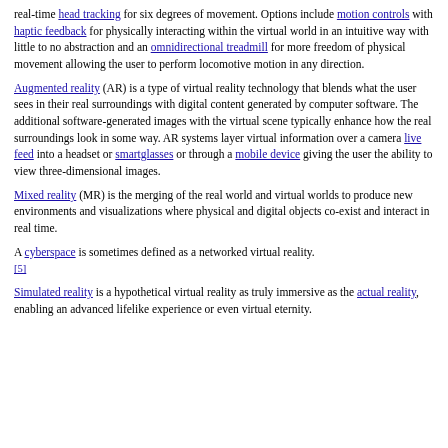real-time head tracking for six degrees of movement. Options include motion controls with haptic feedback for physically interacting within the virtual world in an intuitive way with little to no abstraction and an omnidirectional treadmill for more freedom of physical movement allowing the user to perform locomotive motion in any direction.
Augmented reality (AR) is a type of virtual reality technology that blends what the user sees in their real surroundings with digital content generated by computer software. The additional software-generated images with the virtual scene typically enhance how the real surroundings look in some way. AR systems layer virtual information over a camera live feed into a headset or smartglasses or through a mobile device giving the user the ability to view three-dimensional images.
Mixed reality (MR) is the merging of the real world and virtual worlds to produce new environments and visualizations where physical and digital objects co-exist and interact in real time.
A cyberspace is sometimes defined as a networked virtual reality. [5]
Simulated reality is a hypothetical virtual reality as truly immersive as the actual reality, enabling an advanced lifelike experience or even virtual eternity.